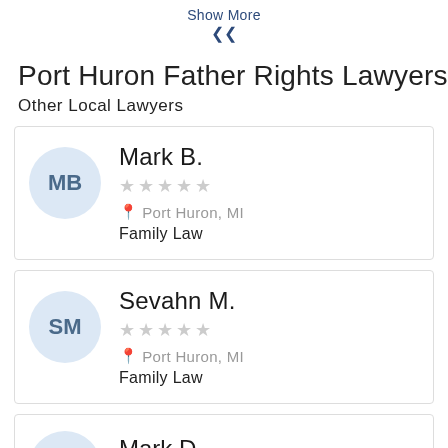Show More
Mark B. | Port Huron, MI | Family Law
Sevahn M. | Port Huron, MI | Family Law
Port Huron Father Rights Lawyers
Other Local Lawyers
Mark D. (partial)